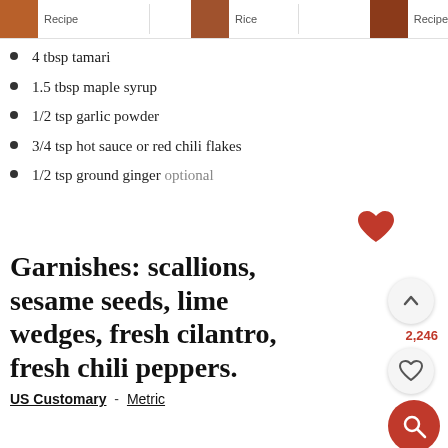Recipe  Rice  Recipe
4 tbsp tamari
1.5 tbsp maple syrup
1/2 tsp garlic powder
3/4 tsp hot sauce or red chili flakes
1/2 tsp ground ginger optional
Garnishes: scallions, sesame seeds, lime wedges, fresh cilantro, fresh chili peppers.
US Customary - Metric